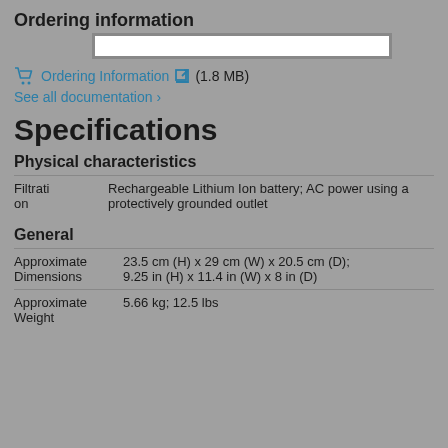Ordering information
[Figure (other): White redacted bar covering part of the ordering information area]
🛒 Ordering Information [external link icon] (1.8 MB)
See all documentation ›
Specifications
Physical characteristics
| Filtration | Rechargeable Lithium Ion battery; AC power using a protectively grounded outlet |
General
| Approximate Dimensions | 23.5 cm (H) x 29 cm (W) x 20.5 cm (D); 9.25 in (H) x 11.4 in (W) x 8 in (D) |
| Approximate Weight | 5.66 kg; 12.5 lbs |